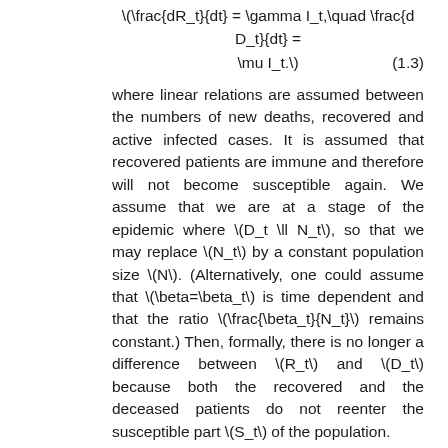where linear relations are assumed between the numbers of new deaths, recovered and active infected cases. It is assumed that recovered patients are immune and therefore will not become susceptible again. We assume that we are at a stage of the epidemic where \(D_t \ll N_t\), so that we may replace \(N_t\) by a constant population size \(N\). (Alternatively, one could assume that \(\beta=\beta_t\) is time dependent and that the ratio \(\frac{\beta_t}{N_t}\) remains constant.) Then, formally, there is no longer a difference between \(R_t\) and \(D_t\) because both the recovered and the deceased patients do not reenter the susceptible part \(S_t\) of the population.
Importantly, the model as stated ignores the time delay between infection and recovery/death.
In order to gain some analytical insight, we observe that \(I_t\) appears as a factor in all terms on the right hand side of the model. We therefore rewrite it as